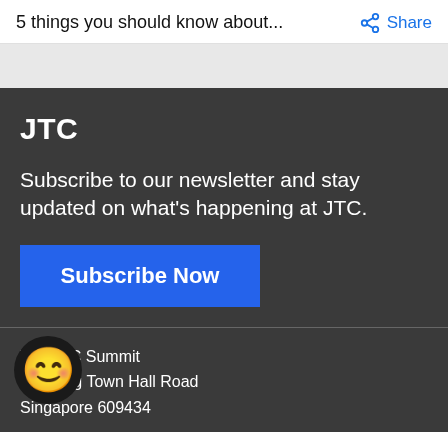5 things you should know about...
JTC
Subscribe to our newsletter and stay updated on what's happening at JTC.
Subscribe Now
The JTC Summit
8 Jurong Town Hall Road
Singapore 609434